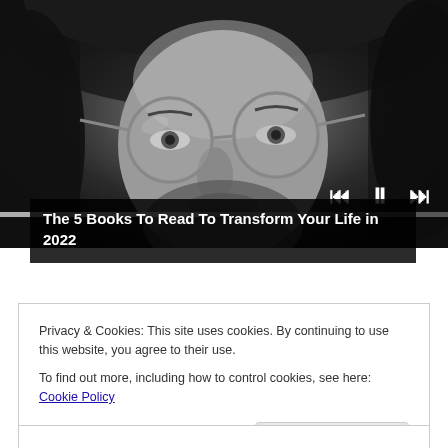[Figure (screenshot): Black and white close-up photo of a man with round glasses, long hair and a beard, used as a video thumbnail. Media player controls (skip back, pause, skip forward) are visible at bottom right, with a progress bar beneath.]
The 5 Books To Read To Transform Your Life in 2022
Privacy & Cookies: This site uses cookies. By continuing to use this website, you agree to their use.
To find out more, including how to control cookies, see here: Cookie Policy
Close and accept